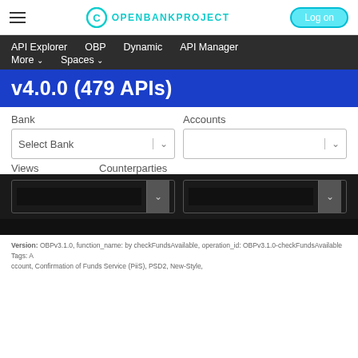OPENBANKPROJECT | Log on
API Explorer   OBP   Dynamic   API Manager   More ▾   Spaces ▾
v4.0.0 (479 APIs)
Bank
Accounts
Select Bank
Views
Counterparties
Version: OBPv3.1.0, function_name: by checkFundsAvailable, operation_id: OBPv3.1.0-checkFundsAvailable Tags: Account, Confirmation of Funds Service (PiiS), PSD2, New-Style,